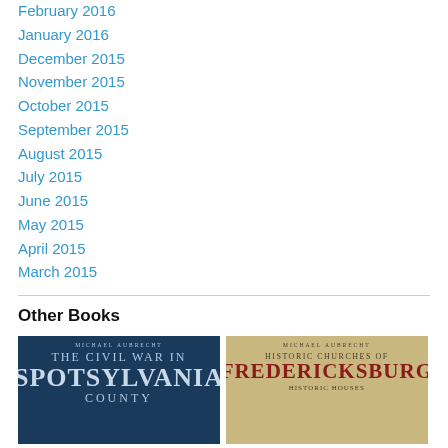February 2016
January 2016
December 2015
November 2015
October 2015
September 2015
August 2015
July 2015
June 2015
May 2015
April 2015
March 2015
Other Books
[Figure (photo): Book cover: The Civil War in Spotsylvania County by Michael Aubrecht]
[Figure (photo): Book cover: Historic Churches of Fredericksburg by Michael Aubrecht]